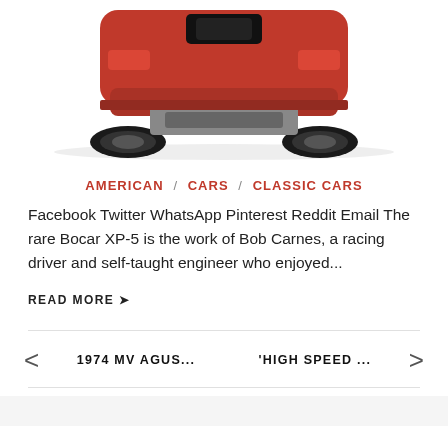[Figure (photo): Bottom/rear view of a red sports car (Bocar XP-5) on white background, showing the undercarriage, rear bumper, and tires.]
AMERICAN / CARS / CLASSIC CARS
Facebook Twitter WhatsApp Pinterest Reddit Email The rare Bocar XP-5 is the work of Bob Carnes, a racing driver and self-taught engineer who enjoyed...
READ MORE →
1974 MV AGUS...
'HIGH SPEED ...